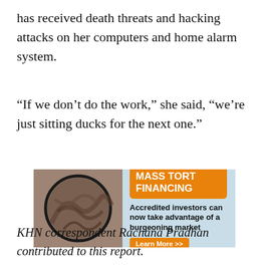has received death threats and hacking attacks on her computers and home alarm system.
“If we don’t do the work,” she said, “we’re just sitting ducks for the next one.”
[Figure (other): Advertisement banner for Mass Tort Financing. Shows a circular image of stone/fossil texture on the left. Orange banner heading reads 'MASS TORT FINANCING'. Subtext: 'Accredited investors can now take advantage of a burgeoning market'. Orange button: 'Learn More >>']
KHN correspondent Rachana Pradhan contributed to this report.